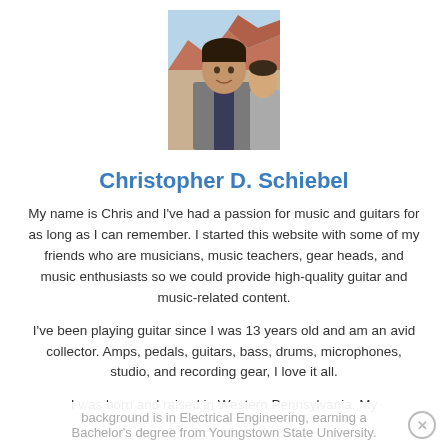[Figure (photo): Headshot photo of Christopher D. Schiebel, a man in a grey blazer outdoors with red rock formations in background]
Christopher D. Schiebel
My name is Chris and I've had a passion for music and guitars for as long as I can remember. I started this website with some of my friends who are musicians, music teachers, gear heads, and music enthusiasts so we could provide high-quality guitar and music-related content.
I've been playing guitar since I was 13 years old and am an avid collector. Amps, pedals, guitars, bass, drums, microphones, studio, and recording gear, I love it all.
I was born and raised in Western Pennsylvania. My
background is in Electrical Engineering, earning a Bachelor's degree from Youngstown State University.